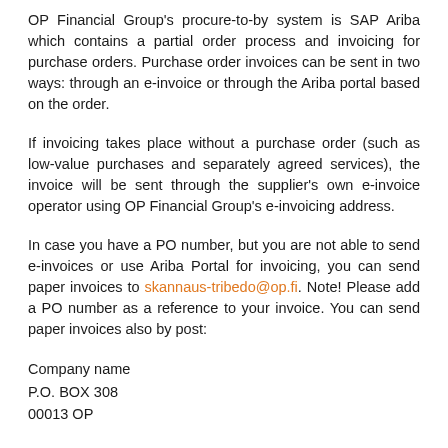OP Financial Group's procure-to-by system is SAP Ariba which contains a partial order process and invoicing for purchase orders. Purchase order invoices can be sent in two ways: through an e-invoice or through the Ariba portal based on the order.
If invoicing takes place without a purchase order (such as low-value purchases and separately agreed services), the invoice will be sent through the supplier's own e-invoice operator using OP Financial Group's e-invoicing address.
In case you have a PO number, but you are not able to send e-invoices or use Ariba Portal for invoicing, you can send paper invoices to skannaus-tribedo@op.fi. Note! Please add a PO number as a reference to your invoice. You can send paper invoices also by post:
Company name
P.O. BOX 308
00013 OP
…